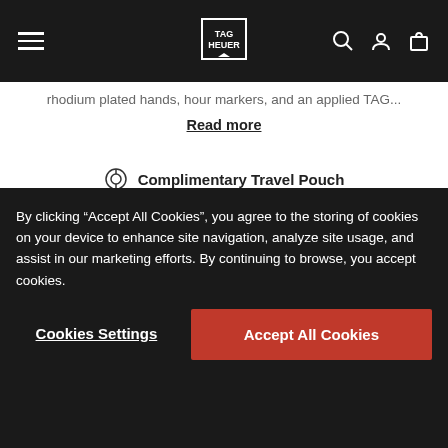TAG Heuer navigation bar with hamburger menu, logo, search, account, and cart icons
rhodium plated hands, hour markers, and an applied TAG...
Read more
Complimentary Travel Pouch
Due to shipping restrictions, this product is not available.
Favorite
Size
Contact us
Complimentary Delivery and Return
Exclusive Online Packaging
By clicking “Accept All Cookies”, you agree to the storing of cookies on your device to enhance site navigation, analyze site usage, and assist in our marketing efforts. By continuing to browse, you accept cookies.
Cookies Settings
Accept All Cookies